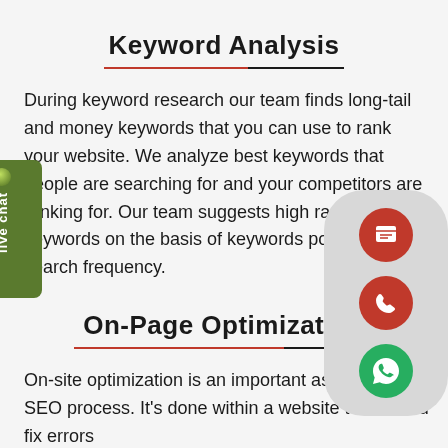Keyword Analysis
During keyword research our team finds long-tail and money keywords that you can use to rank your website. We analyze best keywords that people are searching for and your competitors are ranking for. Our team suggests high ranking keywords on the basis of keywords popularity and search frequency.
On-Page Optimization
On-site optimization is an important aspect of our SEO process. It's done within a website to find and fix errors and to individual pages. Our team makes all...